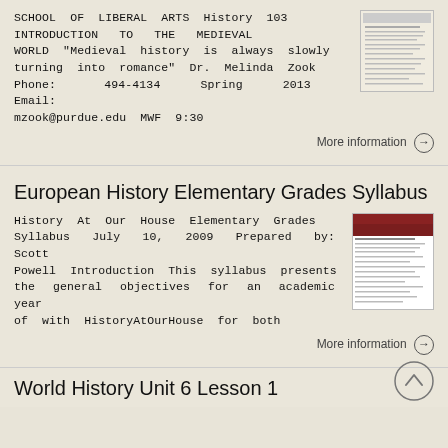SCHOOL OF LIBERAL ARTS History 103 INTRODUCTION TO THE MEDIEVAL WORLD "Medieval history is always slowly turning into romance" Dr. Melinda Zook Phone: 494-4134 Spring 2013 Email: mzook@purdue.edu MWF 9:30
[Figure (screenshot): Thumbnail image of a document/syllabus page]
More information →
European History Elementary Grades Syllabus
History At Our House Elementary Grades Syllabus July 10, 2009 Prepared by: Scott Powell Introduction This syllabus presents the general objectives for an academic year of with HistoryAtOurHouse for both
[Figure (screenshot): Thumbnail image of a History At Our House syllabus document with a dark red/maroon header image]
More information →
World History Unit 6 Lesson 1